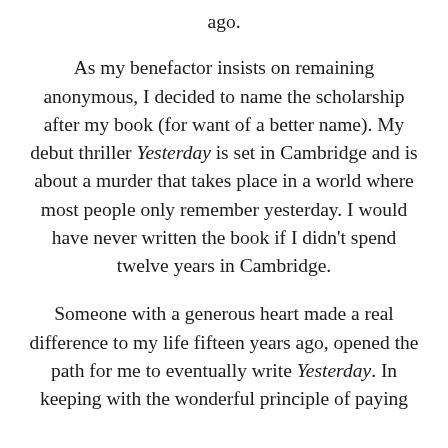ago.
As my benefactor insists on remaining anonymous, I decided to name the scholarship after my book (for want of a better name). My debut thriller Yesterday is set in Cambridge and is about a murder that takes place in a world where most people only remember yesterday. I would have never written the book if I didn't spend twelve years in Cambridge.
Someone with a generous heart made a real difference to my life fifteen years ago, opened the path for me to eventually write Yesterday. In keeping with the wonderful principle of paying